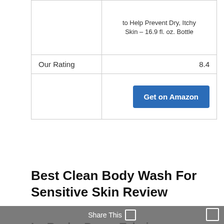|  |  |
| --- | --- |
|  | to Help Prevent Dry, Itchy Skin – 16.9 fl. oz. Bottle |
| Our Rating | 8.4 |
|  | Get on Amazon |
Best Clean Body Wash For Sensitive Skin Review
La Roche-Posay Toleriane Hydrating Gentle Facial Cleanser, Daily Face Wash with Ceramide and Niacinamide for Normal to Dry